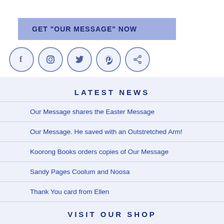GET "OUR MESSAGE" NOW
[Figure (infographic): Row of five social media icon circles: Facebook, Instagram, Twitter, Pinterest, Share]
LATEST NEWS
Our Message shares the Easter Message
Our Message. He saved with an Outstretched Arm!
Koorong Books orders copies of Our Message
Sandy Pages Coolum and Noosa
Thank You card from Ellen
VISIT OUR SHOP